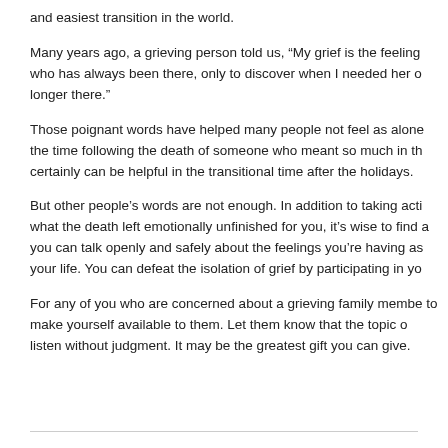and easiest transition in the world.
Many years ago, a grieving person told us, “My grief is the feeling who has always been there, only to discover when I needed her o longer there.”
Those poignant words have helped many people not feel as alone the time following the death of someone who meant so much in th certainly can be helpful in the transitional time after the holidays.
But other people’s words are not enough. In addition to taking acti what the death left emotionally unfinished for you, it’s wise to find a you can talk openly and safely about the feelings you’re having as your life. You can defeat the isolation of grief by participating in yo
For any of you who are concerned about a grieving family membe to make yourself available to them. Let them know that the topic o listen without judgment. It may be the greatest gift you can give.